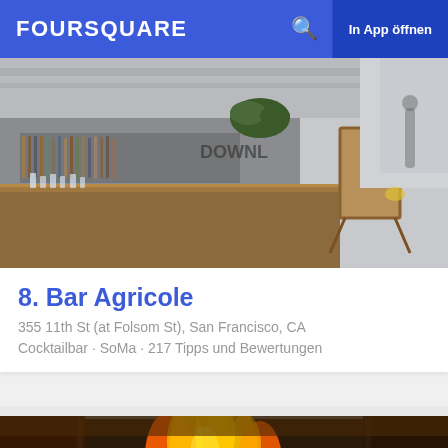FOURSQUARE  In App öffnen
[Figure (photo): Interior of Bar Agricole showing a long wooden bar counter with bottles, plants, and industrial-style decor]
8. Bar Agricole
355 11th St (at Folsom St), San Francisco, CA
Cocktailbar · SoMa · 217 Tipps und Bewertungen
[Figure (photo): Close-up of a large open fireplace with burning wood and flames visible through a grate]